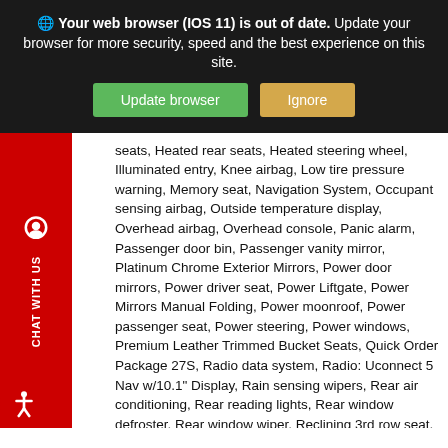[Figure (screenshot): Browser update warning banner with dark background. Text: 'Your web browser (IOS 11) is out of date. Update your browser for more security, speed and the best experience on this site.' Two buttons: green 'Update browser' and orange 'Ignore'.]
seats, Heated rear seats, Heated steering wheel, Illuminated entry, Knee airbag, Low tire pressure warning, Memory seat, Navigation System, Occupant sensing airbag, Outside temperature display, Overhead airbag, Overhead console, Panic alarm, Passenger door bin, Passenger vanity mirror, Platinum Chrome Exterior Mirrors, Power door mirrors, Power driver seat, Power Liftgate, Power Mirrors Manual Folding, Power moonroof, Power passenger seat, Power steering, Power windows, Premium Leather Trimmed Bucket Seats, Quick Order Package 27S, Radio data system, Radio: Uconnect 5 Nav w/10.1" Display, Rain sensing wipers, Rear air conditioning, Rear reading lights, Rear window defroster, Rear window wiper, Reclining 3rd row seat, Remote keyless entry, Roof rack, Security system, Speed control, Split folding rear seat, Spoiler, Steering wheel mounted audio controls, Sun blinds, Tachometer, Telescoping steering wheel, Tilt steering wheel, Traction control, Trip computer, Turn signal indicator mirrors, Variably intermittent wipers, Ventilated